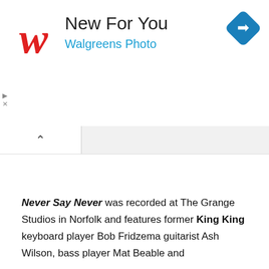[Figure (logo): Walgreens red cursive W logo]
New For You
Walgreens Photo
[Figure (logo): Blue diamond navigation icon with right arrow]
Never Say Never was recorded at The Grange Studios in Norfolk and features former King King keyboard player Bob Fridzema guitarist Ash Wilson, bass player Mat Beable and